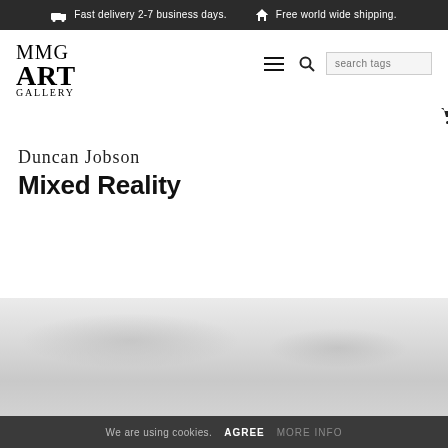Fast delivery 2-7 business days.  Free world wide shipping.
[Figure (logo): MMG ART GALLERY logo in serif font, stacked vertically]
cart (0)  fav (0)  login
Duncan Jobson
Mixed Reality
[Figure (photo): A large light grey/silver abstract photographic artwork, predominantly grey tones with subtle cloud-like textures — the beginning of the artwork image at the bottom of the page]
We are using cookies.  AGREE  MORE INFO